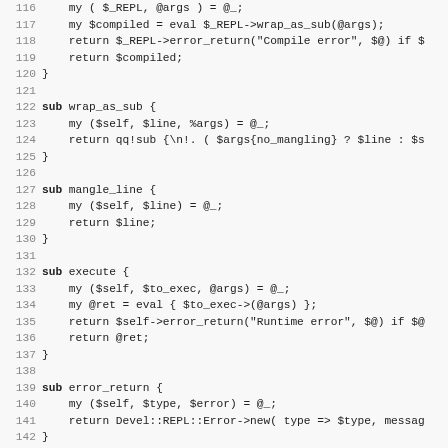[Figure (screenshot): Source code listing in Perl, lines 116-147, showing subroutines: compile (partial), wrap_as_sub, mangle_line, execute, error_return, and print (partial). Light gray background, monospace font, line numbers on the left.]